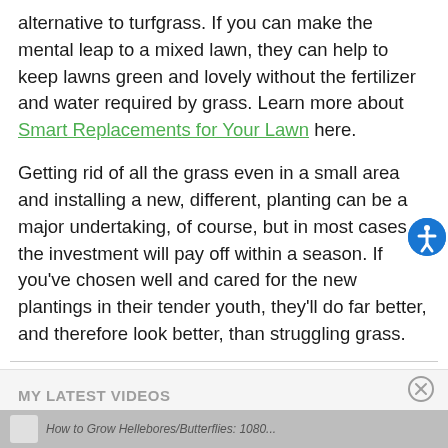alternative to turfgrass. If you can make the mental leap to a mixed lawn, they can help to keep lawns green and lovely without the fertilizer and water required by grass. Learn more about Smart Replacements for Your Lawn here.
Getting rid of all the grass even in a small area and installing a new, different, planting can be a major undertaking, of course, but in most cases the investment will pay off within a season. If you've chosen well and cared for the new plantings in their tender youth, they'll do far better, and therefore look better, than struggling grass.
MY LATEST VIDEOS